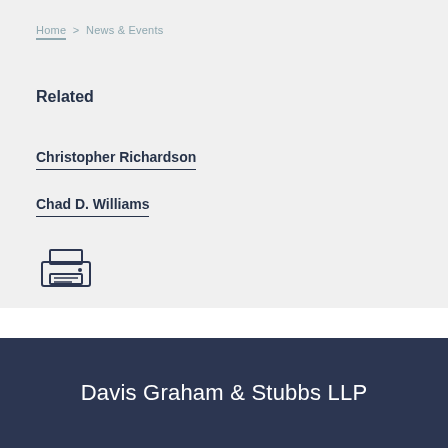Home > News & Events
Related
Christopher Richardson
Chad D. Williams
[Figure (other): Printer icon]
Davis Graham & Stubbs LLP